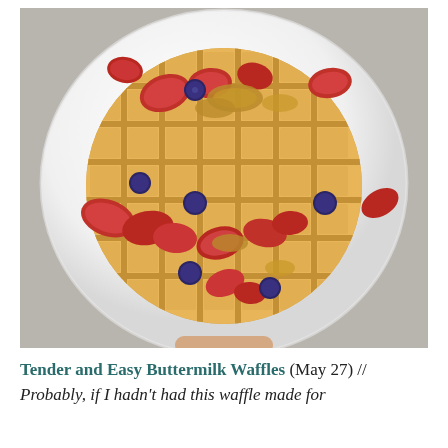[Figure (photo): Overhead photo of a round buttermilk waffle on a white plate, topped with sliced strawberries, whole blueberries, and granola, set on a grey concrete surface.]
Tender and Easy Buttermilk Waffles (May 27) // Probably, if I hadn't had this waffle made for